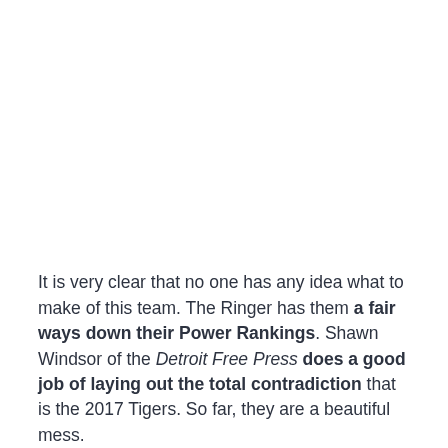It is very clear that no one has any idea what to make of this team. The Ringer has them a fair ways down their Power Rankings. Shawn Windsor of the Detroit Free Press does a good job of laying out the total contradiction that is the 2017 Tigers. So far, they are a beautiful mess.